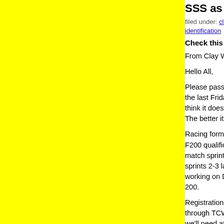SSS as a WSS, in Perth?
filed under: club politics promotions training race race identification racing sprint series
Check this out, we're spreading ...
From Clay Worthington, WAIS sprint coach :
Hello All,
Please pass word around that TCWA has agreed to the last Friday of every month starting in April (and w think it doesn't clash with many major events (althou. The better it is attended the better the racing experie
Racing format is still being developed, but we'll start F200 qualification to determine racing groups by abi match sprints, derby's, and Keirins depending on nu sprints 2-3 laps, derbys 2-4 laps, Keirin 6-8 laps). I'm working on DB and Muzz to line up opposite one and 200.
Registration will run through TCWA as per a typical through TCWA website, or email Ken Benson), but p we'll need attendance to keep it running. Same $15
At this time, I'm expecting to be registration desk, se